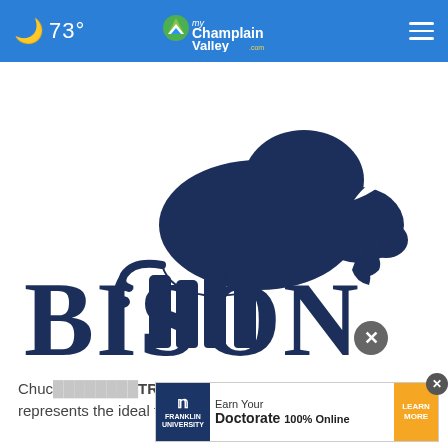🌙 73° | myChamplainValley.com
[Figure (logo): Bison Wealth logo: dark navy blue silhouette of a bison walking/grazing with the word BISON in large serif navy letters below it]
Chuc... TR represents the ideal fit for Bison Wealth. Their
[Figure (screenshot): Advertisement banner: Franklin University logo on left, text 'Earn Your Doctorate 100% Online', orange 'LEARN MORE' button on right, with a close X button overlay]